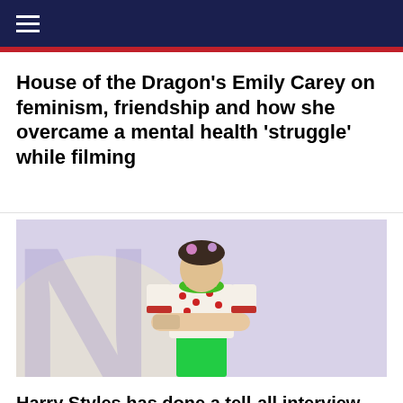≡ (navigation bar)
House of the Dragon's Emily Carey on feminism, friendship and how she overcame a mental health 'struggle' while filming
[Figure (photo): Harry Styles standing with arms crossed, wearing a strawberry-print short-sleeve shirt, green necklace, and bright green pants, with a lavender background featuring a large stylized letter.]
Harry Styles has done a tell-all interview and addresses figuring out his sexuality and getting more comfortable with it